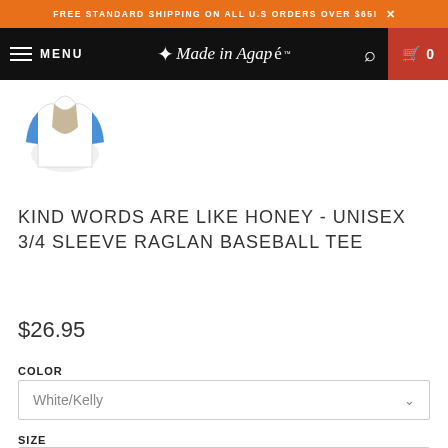FREE STANDARD SHIPPING ON ALL U.S ORDERS OVER $65! X
MENU | Made in Agapé™ | 🔍 | 🛒 0
[Figure (illustration): Small product thumbnail of a raglan baseball tee with blue/white coloring]
KIND WORDS ARE LIKE HONEY - UNISEX 3/4 SLEEVE RAGLAN BASEBALL TEE
$26.95
COLOR
White/Kelly
SIZE
XS